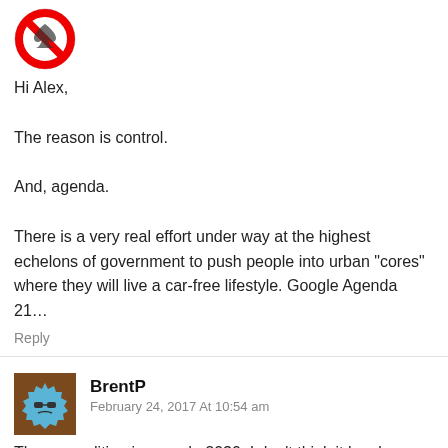[Figure (illustration): Red circle with prohibited symbol (no symbol) containing a playing card suit icon, used as avatar]
Hi Alex,

The reason is control.

And, agenda.

There is a very real effort under way at the highest echelons of government to push people into urban "cores" where they will live a car-free lifestyle. Google Agenda 21…
Reply
[Figure (illustration): Brown square avatar with a blue cartoon gear/cog face character wearing sunglasses]
BrentP
February 24, 2017 At 10:54 am
The new edition is agenda 2030. I don't think it has been stamped approved yet, but they are working on it.
Reply